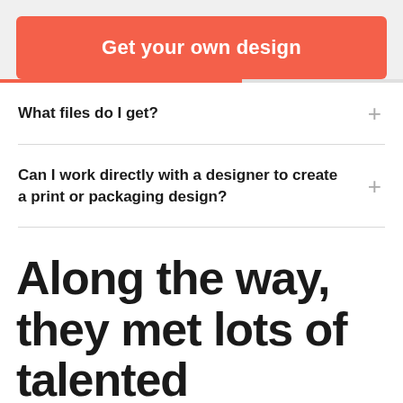Get your own design
What files do I get?
Can I work directly with a designer to create a print or packaging design?
Along the way, they met lots of talented designers...